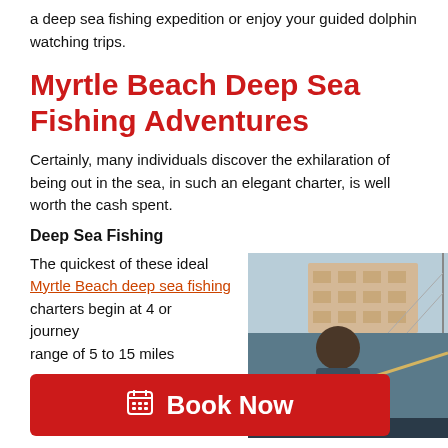a deep sea fishing expedition or enjoy your guided dolphin watching trips.
Myrtle Beach Deep Sea Fishing Adventures
Certainly, many individuals discover the exhilaration of being out in the sea, in such an elegant charter, is well worth the cash spent.
Deep Sea Fishing
The quickest of these ideal Myrtle Beach deep sea fishing charters begin at 4 or ... journey ... range of 5 to 15 miles ...
[Figure (photo): Photo of a person on a boat with a marina and multi-story building in the background]
[Figure (other): Red 'Book Now' button with calendar icon overlay]